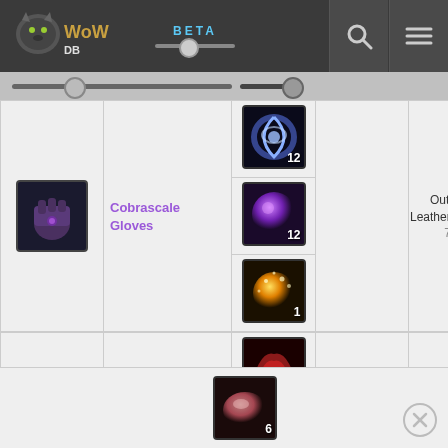WOWDB BETA
| Item | Name | Reagents |  | Skill |
| --- | --- | --- | --- | --- |
| [icon] | Cobrascale Gloves | [swirl x12][purple x12][gold x1] |  | Outland Leatherworking 75 |
| [icon] | Windscale Hood | [red x6][feather x20][wind x18][blue x10][gold x1] |  | Outland Leatherworking 75 |
[Figure (screenshot): Partial third row showing a pink/light reagent icon with count 6]